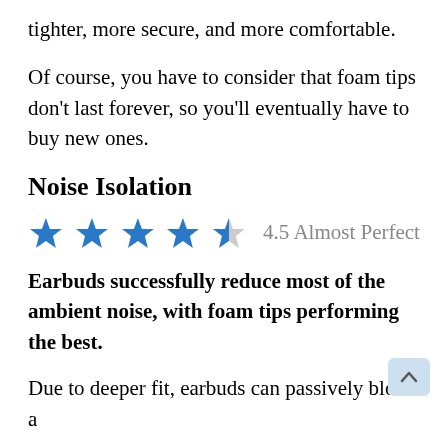tighter, more secure, and more comfortable.
Of course, you have to consider that foam tips don't last forever, so you'll eventually have to buy new ones.
Noise Isolation
[Figure (other): Star rating display: 4 full blue stars and 1 half blue/grey star, with text '4.5 Almost Perfect']
Earbuds successfully reduce most of the ambient noise, with foam tips performing the best.
Due to deeper fit, earbuds can passively block a